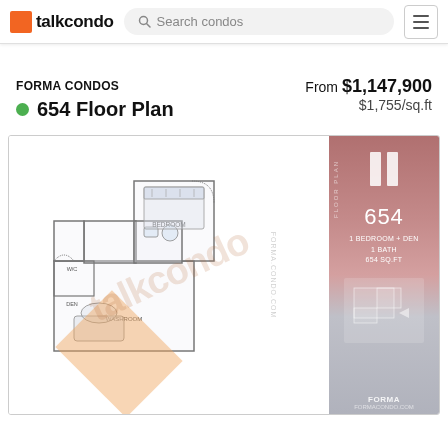talkcondo — Search condos
FORMA CONDOS
654 Floor Plan
From $1,147,900
$1,755/sq.ft
[Figure (engineering-diagram): Floor plan drawing for unit 654 at Forma Condos. Shows a 1 bedroom + den, 1 bath, 654 sq.ft layout. Left portion shows the detailed architectural floor plan with rooms labeled including bedroom, washroom, den, and living areas. Right panel shows the Forma branding with the unit number 654 and specs: 1 Bedroom + Den, 1 Bath, 654 sq.ft, along with a small thumbnail of the floor plan. Talkcondo watermark overlaid on the drawing.]